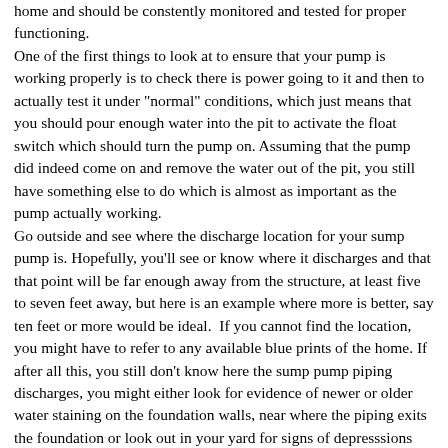home and should be constently monitored and tested for proper functioning. One of the first things to look at to ensure that your pump is working properly is to check there is power going to it and then to actually test it under "normal" conditions, which just means that you should pour enough water into the pit to activate the float switch which should turn the pump on. Assuming that the pump did indeed come on and remove the water out of the pit, you still have something else to do which is almost as important as the pump actually working. Go outside and see where the discharge location for your sump pump is. Hopefully, you'll see or know where it discharges and that that point will be far enough away from the structure, at least five to seven feet away, but here is an example where more is better, say ten feet or more would be ideal. If you cannot find the location, you might have to refer to any available blue prints of the home. If after all this, you still don't know here the sump pump piping discharges, you might either look for evidence of newer or older water staining on the foundation walls, near where the piping exits the foundation or look out in your yard for signs of depresssions where water may have eroded a portion of the lawn.